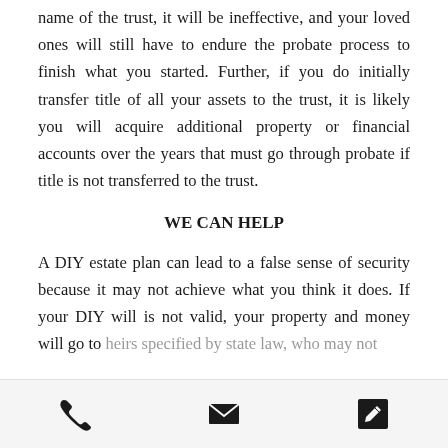name of the trust, it will be ineffective, and your loved ones will still have to endure the probate process to finish what you started. Further, if you do initially transfer title of all your assets to the trust, it is likely you will acquire additional property or financial accounts over the years that must go through probate if title is not transferred to the trust.
WE CAN HELP
A DIY estate plan can lead to a false sense of security because it may not achieve what you think it does. If your DIY will is not valid, your property and money will go to heirs specified by state law, who may not
phone | email | edit icons